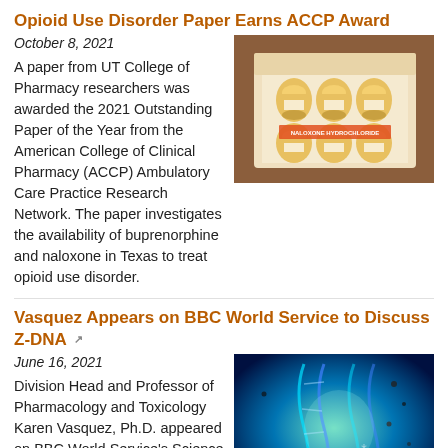Opioid Use Disorder Paper Earns ACCP Award
October 8, 2021
[Figure (photo): Open cardboard box containing multiple small vials with orange caps labeled Naloxone Hydrochloride]
A paper from UT College of Pharmacy researchers was awarded the 2021 Outstanding Paper of the Year from the American College of Clinical Pharmacy (ACCP) Ambulatory Care Practice Research Network. The paper investigates the availability of buprenorphine and naloxone in Texas to treat opioid use disorder.
Vasquez Appears on BBC World Service to Discuss Z-DNA
June 16, 2021
[Figure (photo): Glowing DNA double helix on a blue background with particles]
Division Head and Professor of Pharmacology and Toxicology Karen Vasquez, Ph.D. appeared on BBC World Service's Science in Action to talk about Z-